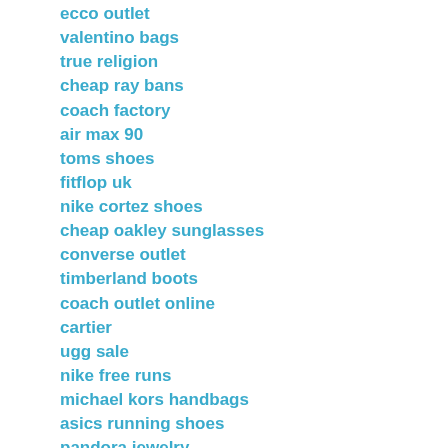ecco outlet
valentino bags
true religion
cheap ray bans
coach factory
air max 90
toms shoes
fitflop uk
nike cortez shoes
cheap oakley sunglasses
converse outlet
timberland boots
coach outlet online
cartier
ugg sale
nike free runs
michael kors handbags
asics running shoes
pandora jewelry
Reply